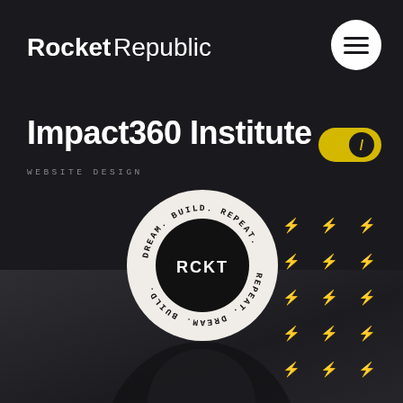[Figure (logo): RocketRepublic logo in white text, bold 'Rocket' and light 'Republic']
[Figure (other): White circular menu button with three horizontal lines (hamburger icon)]
Impact360 Institute
WEBSITE DESIGN
[Figure (other): Yellow pill/toggle switch with dark circular knob containing a slash symbol]
[Figure (other): RCKT circular badge with text 'DREAM. BUILD. REPEAT.' around the outside and 'RCKT' in the center black circle]
[Figure (other): Grid of white lightning bolt symbols arranged in rows and columns on dark background]
[Figure (photo): Dark background with a blurred figure/person in lower portion of the image]